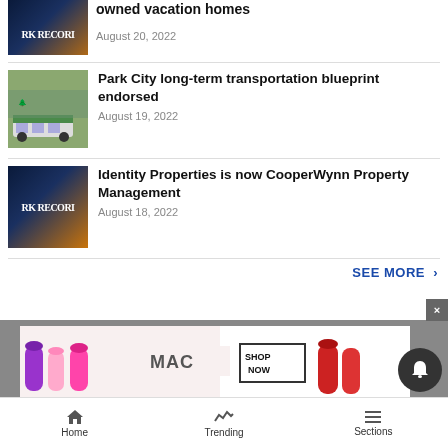[Figure (screenshot): News article thumbnail - Park Record newspaper front page image (aerial city lights)]
owned vacation homes
August 20, 2022
[Figure (photo): Bus/transit vehicle photo with autumn trees]
Park City long-term transportation blueprint endorsed
August 19, 2022
[Figure (screenshot): Park Record newspaper front page image (aerial city lights)]
Identity Properties is now CooperWynn Property Management
August 18, 2022
SEE MORE >
[Figure (photo): MAC cosmetics advertisement showing lipsticks with SHOP NOW button]
Home   Trending   Sections